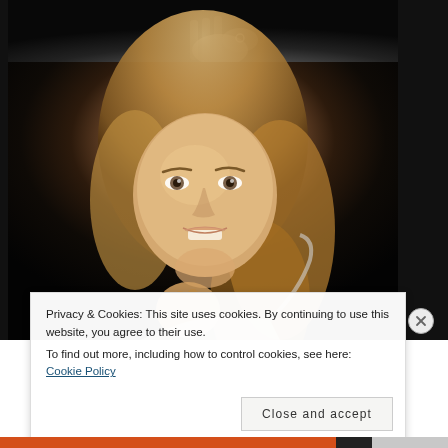[Figure (photo): Two stacked photos against dark background: top is a black-and-white partial photo showing hands/torso; bottom is a color studio portrait of a smiling young woman with blonde wavy hair against a dark background.]
Privacy & Cookies: This site uses cookies. By continuing to use this website, you agree to their use.
To find out more, including how to control cookies, see here: Cookie Policy
Close and accept